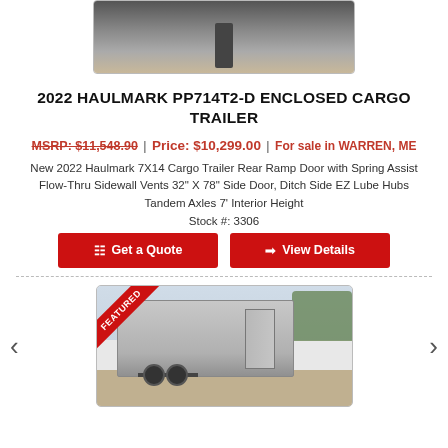[Figure (photo): Top portion of trailer interior image, cropped at top of page]
2022 HAULMARK PP714T2-D ENCLOSED CARGO TRAILER
MSRP: $11,548.90 | Price: $10,299.00 | For sale in WARREN, ME
New 2022 Haulmark 7X14 Cargo Trailer Rear Ramp Door with Spring Assist Flow-Thru Sidewall Vents 32" X 78" Side Door, Ditch Side EZ Lube Hubs Tandem Axles 7' Interior Height
Stock #: 3306
Get a Quote | View Details
[Figure (photo): Photo of a silver enclosed cargo trailer (Haulmark) with a Featured ribbon in the upper-left corner, parked on a gravel lot with trees in background. Navigation arrows on left and right sides.]